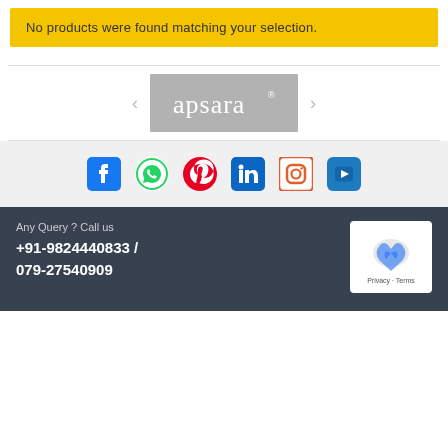No products were found matching your selection.
[Figure (logo): Apsara brand logo in white text on gray background]
[Figure (infographic): Social media icons: Facebook, WhatsApp, Pinterest, LinkedIn, Instagram, YouTube]
Any Query ? Call us
+91-9824440833 / 079-27540909